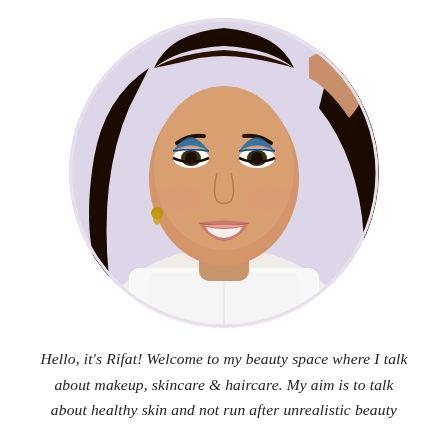[Figure (photo): Circular cropped portrait photo of a young woman with dark hair, blue smokey eye makeup, wearing a white top, smiling, hand raised to her hair, against a light lavender background.]
Hello, it's Rifat! Welcome to my beauty space where I talk about makeup, skincare & haircare. My aim is to talk about healthy skin and not run after unrealistic beauty